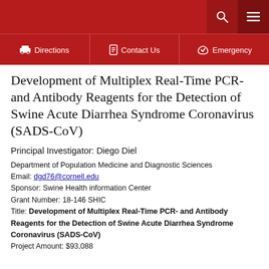Directions | Contact Us | Emergency
Development of Multiplex Real-Time PCR- and Antibody Reagents for the Detection of Swine Acute Diarrhea Syndrome Coronavirus (SADS-CoV)
Principal Investigator: Diego Diel
Department of Population Medicine and Diagnostic Sciences
Email: dgd76@cornell.edu
Sponsor: Swine Health information Center
Grant Number: 18-146 SHIC
Title: Development of Multiplex Real-Time PCR- and Antibody Reagents for the Detection of Swine Acute Diarrhea Syndrome Coronavirus (SADS-CoV)
Project Amount: $93,088